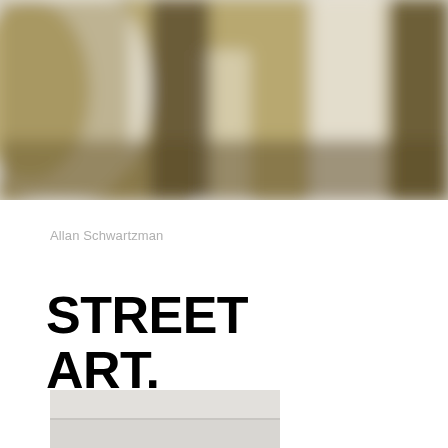[Figure (photo): Close-up blurred photograph of large painted or printed letters, showing gold/olive colored letters (appears to be parts of letters like 'R' and 'I') on a light/cream background. The image is heavily blurred/defocused.]
Allan Schwartzman
STREET ART.
[Figure (photo): Partial view of a second image at the bottom of the page, showing a light gray/white surface, partially cropped.]